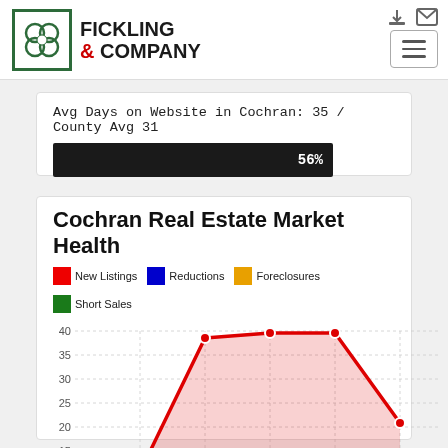[Figure (logo): Fickling & Company real estate logo with green bordered box containing flower/clover design]
Avg Days on Website in Cochran: 35 / County Avg 31
[Figure (bar-chart): Progress bar 56%]
Cochran Real Estate Market Health
[Figure (area-chart): Area/line chart showing New Listings (red), Reductions (blue), Foreclosures (orange), Short Sales (green). Red series peaks near 38-39 in middle months. Values range from about 10 to 40.]